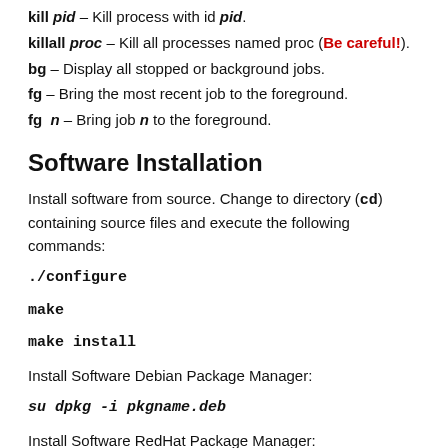kill pid – Kill process with id pid.
killall proc – Kill all processes named proc (Be careful!).
bg – Display all stopped or background jobs.
fg – Bring the most recent job to the foreground.
fg n – Bring job n to the foreground.
Software Installation
Install software from source. Change to directory (cd) containing source files and execute the following commands:
./configure
make
make install
Install Software Debian Package Manager:
su dpkg -i pkgname.deb
Install Software RedHat Package Manager: